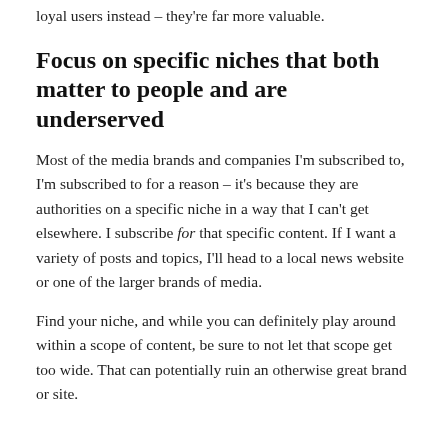loyal users instead – they're far more valuable.
Focus on specific niches that both matter to people and are underserved
Most of the media brands and companies I'm subscribed to, I'm subscribed to for a reason – it's because they are authorities on a specific niche in a way that I can't get elsewhere. I subscribe for that specific content. If I want a variety of posts and topics, I'll head to a local news website or one of the larger brands of media.
Find your niche, and while you can definitely play around within a scope of content, be sure to not let that scope get too wide. That can potentially ruin an otherwise great brand or site.